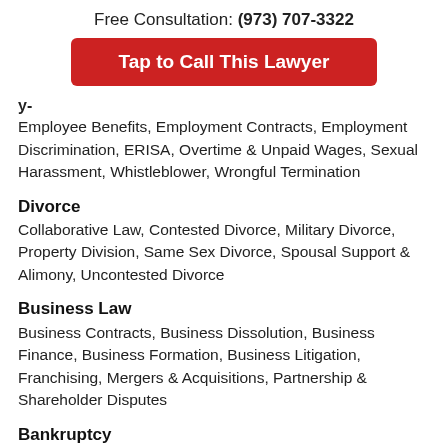Free Consultation: (973) 707-3322
[Figure (other): Red button: Tap to Call This Lawyer]
Employee Benefits, Employment Contracts, Employment Discrimination, ERISA, Overtime & Unpaid Wages, Sexual Harassment, Whistleblower, Wrongful Termination
Divorce
Collaborative Law, Contested Divorce, Military Divorce, Property Division, Same Sex Divorce, Spousal Support & Alimony, Uncontested Divorce
Business Law
Business Contracts, Business Dissolution, Business Finance, Business Formation, Business Litigation, Franchising, Mergers & Acquisitions, Partnership & Shareholder Disputes
Bankruptcy
Chapter 11 Bankruptcy, Chapter 13 Bankruptcy, Chapter 7 Bankruptcy, Debt Relief